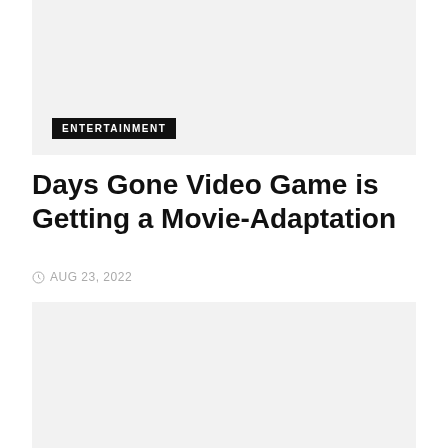[Figure (photo): Top image placeholder block with light gray background]
ENTERTAINMENT
Days Gone Video Game is Getting a Movie-Adaptation
AUG 23, 2022
[Figure (photo): Bottom image placeholder block with light gray background]